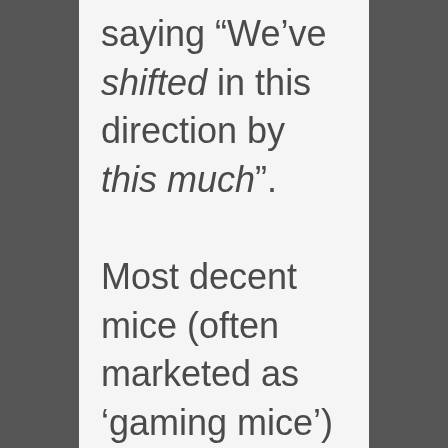saying “We’ve shifted in this direction by this much”. Most decent mice (often marketed as ‘gaming mice’) allow you to change the DPI or CPI. This value tells you that if you move the mouse 1-inch in some direc…